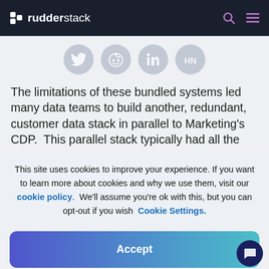rudderstack
[Figure (illustration): Social sharing icons: Twitter, Reddit, LinkedIn, Hacker News — circular grey icons in a row]
The limitations of these bundled systems led many data teams to build another, redundant, customer data stack in parallel to Marketing's CDP. This parallel stack typically had all the
This site uses cookies to improve your experience. If you want to learn more about cookies and why we use them, visit our cookie policy. We'll assume you're ok with this, but you can opt-out if you wish Cookie Settings.
Accept